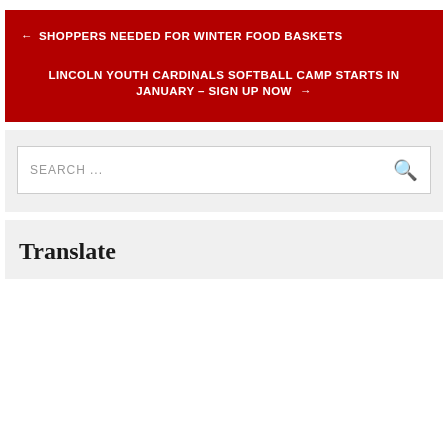← SHOPPERS NEEDED FOR WINTER FOOD BASKETS
LINCOLN YOUTH CARDINALS SOFTBALL CAMP STARTS IN JANUARY – SIGN UP NOW →
SEARCH ...
Translate